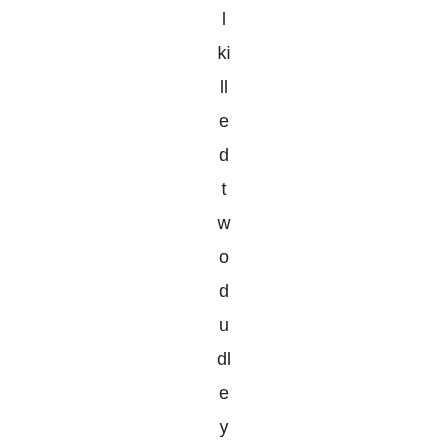l ki ll e d t w o d u dl e y as la st s u m m